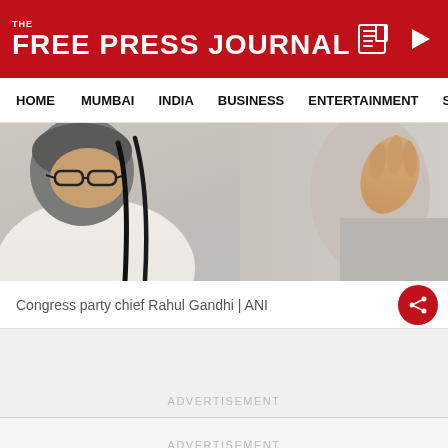THE FREE PRESS JOURNAL
HOME
MUMBAI
INDIA
BUSINESS
ENTERTAINMENT
SPO
[Figure (photo): Congress party chief Rahul Gandhi speaking at a microphone, cropped close-up showing grey hair and white shirt, another person visible at right]
Congress party chief Rahul Gandhi | ANI
ADVERTISEMENT
ADVERTISEMENT